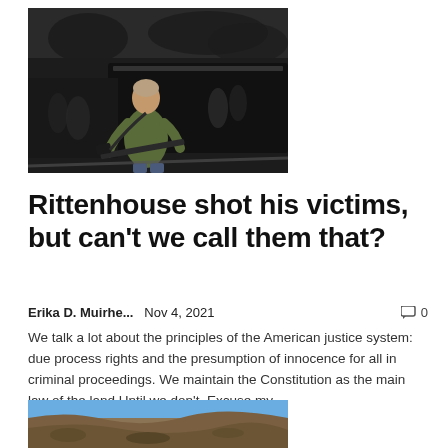[Figure (photo): A young man carrying a rifle running in a crowd at night, dark vehicles in background]
Rittenhouse shot his victims, but can't we call them that?
Erika D. Muirhe...   Nov 4, 2021   0
We talk a lot about the principles of the American justice system: due process rights and the presumption of innocence for all in criminal proceedings. We maintain the Constitution as the main law of the land.Until we don't. Excuse my...
[Figure (photo): Outdoor landscape photo showing dry rocky hillside terrain under blue sky]